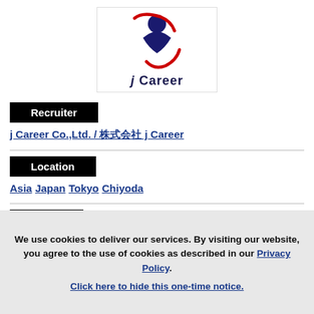[Figure (logo): j Career company logo — a stylized figure with red arc/swoosh and dark navy blue shape, with text 'j Career' below]
Recruiter
j Career Co.,Ltd. / 株式会社 j Career
Location
Asia Japan Tokyo Chiyoda
Salary
We use cookies to deliver our services. By visiting our website, you agree to the use of cookies as described in our Privacy Policy. Click here to hide this one-time notice.